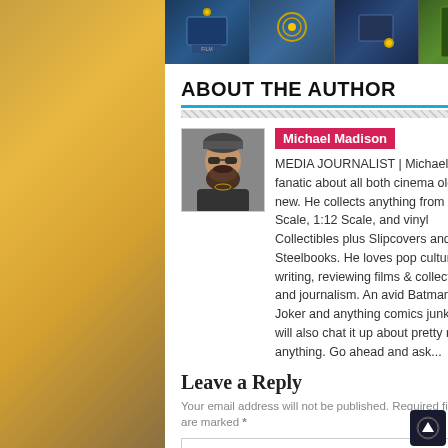[Figure (screenshot): Top image strip showing multiple movie/collectible related panels in dark blue and green tones]
ABOUT THE AUTHOR
[Figure (photo): Author photo: a bearded man wearing sunglasses and a beanie hat]
Michael Madison
MEDIA JOURNALIST | Michael is a fanatic about all both cinema old and new. He collects anything from 1:6 Scale, 1:12 Scale, and vinyl Collectibles plus Slipcovers and Steelbooks. He loves pop culture, writing, reviewing films & collectibles, and journalism. An avid Batman, The Joker and anything comics junkie, he will also chat it up about pretty much anything. Go ahead and ask...
Leave a Reply
Your email address will not be published. Required fields are marked *